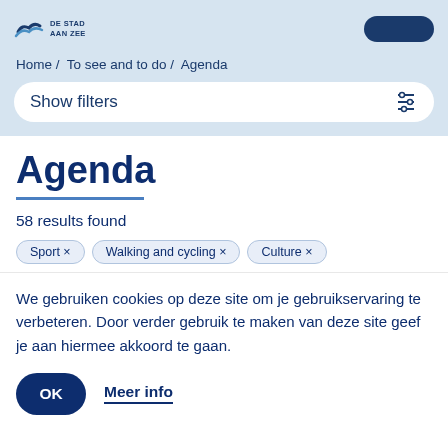DE STAD AAN ZEE
Home / To see and to do / Agenda
Show filters
Agenda
58 results found
Sport × Walking and cycling × Culture ×
We gebruiken cookies op deze site om je gebruikservaring te verbeteren. Door verder gebruik te maken van deze site geef je aan hiermee akkoord te gaan.
OK
Meer info